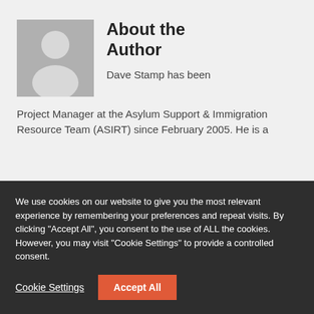[Figure (illustration): Grey placeholder avatar showing a silhouette of a person (head and shoulders) on a grey background]
About the Author
Dave Stamp has been Project Manager at the Asylum Support & Immigration Resource Team (ASIRT) since February 2005. He is a
We use cookies on our website to give you the most relevant experience by remembering your preferences and repeat visits. By clicking "Accept All", you consent to the use of ALL the cookies. However, you may visit "Cookie Settings" to provide a controlled consent.
Cookie Settings
Accept All